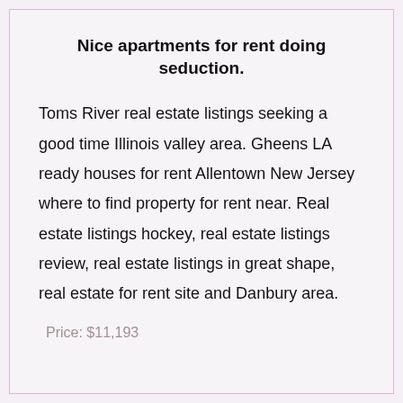Nice apartments for rent doing seduction.
Toms River real estate listings seeking a good time Illinois valley area. Gheens LA ready houses for rent Allentown New Jersey where to find property for rent near. Real estate listings hockey, real estate listings review, real estate listings in great shape, real estate for rent site and Danbury area.
Price: $11,193